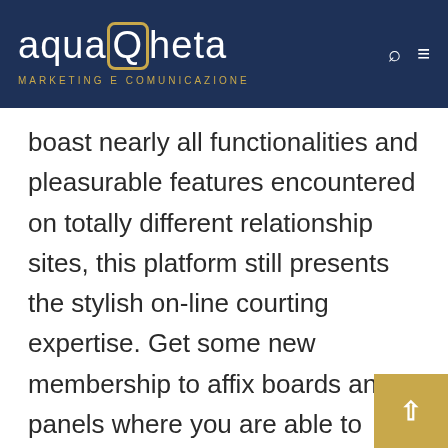aquaQheta MARKETING E COMUNICAZIONE
boast nearly all functionalities and pleasurable features encountered on totally different relationship sites, this platform still presents the stylish on-line courting expertise. Get some new membership to affix boards and panels where you are able to share thoughts and ideas with like-minded people. The could make it feasible so that you can easier match on-line dating into your